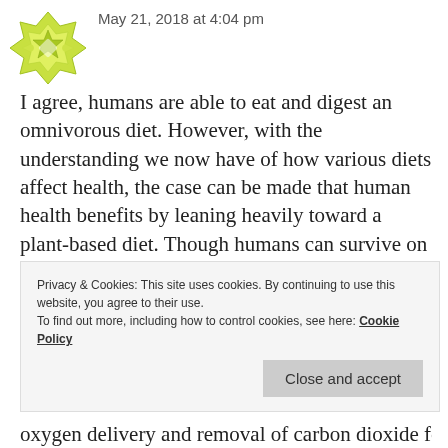[Figure (logo): Yellow/green star-like avatar icon]
May 21, 2018 at 4:04 pm
I agree, humans are able to eat and digest an omnivorous diet. However, with the understanding we now have of how various diets affect health, the case can be made that human health benefits by leaning heavily toward a plant-based diet. Though humans can survive on a diet of pretty much anything, we can only thrive (health-wise) when we eat within a framework that supports maximum energy efficiency in the body.
Privacy & Cookies: This site uses cookies. By continuing to use this website, you agree to their use.
To find out more, including how to control cookies, see here: Cookie Policy
Close and accept
oxygen delivery and removal of carbon dioxide for all